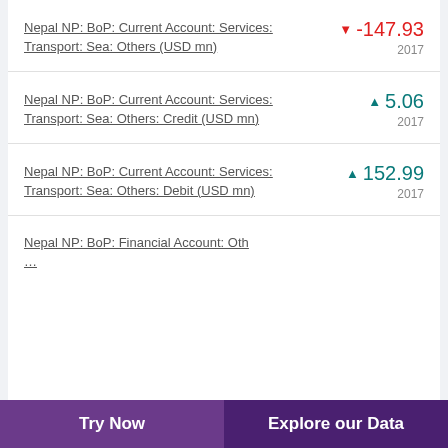Nepal NP: BoP: Current Account: Services: Transport: Sea: Others (USD mn)
Nepal NP: BoP: Current Account: Services: Transport: Sea: Others: Credit (USD mn)
Nepal NP: BoP: Current Account: Services: Transport: Sea: Others: Debit (USD mn)
Nepal NP: BoP: Financial Account: Oth…
Try Now | Explore our Data